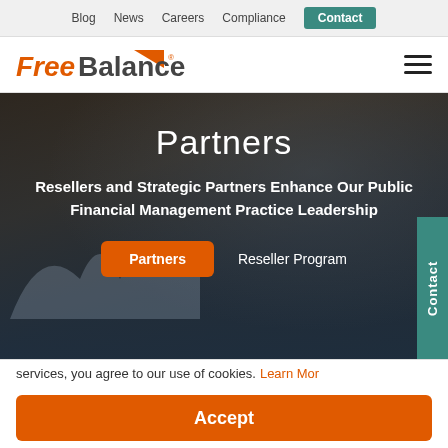Blog  News  Careers  Compliance  Contact
[Figure (logo): FreeBalance logo with orange italic text and triangle graphic]
Partners
Resellers and Strategic Partners Enhance Our Public Financial Management Practice Leadership
Partners   Reseller Program
services, you agree to our use of cookies. Learn More
Accept